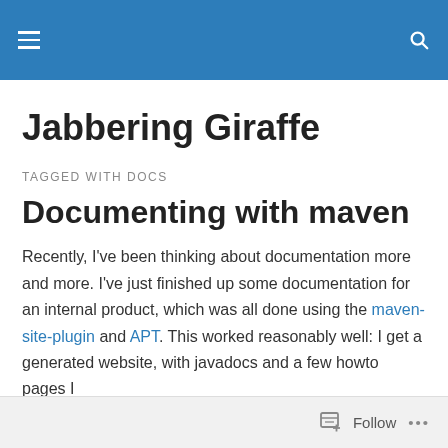Jabbering Giraffe — navigation bar
Jabbering Giraffe
TAGGED WITH DOCS
Documenting with maven
Recently, I've been thinking about documentation more and more. I've just finished up some documentation for an internal product, which was all done using the maven-site-plugin and APT. This worked reasonably well: I get a generated website, with javadocs and a few howto pages I
Follow  •••